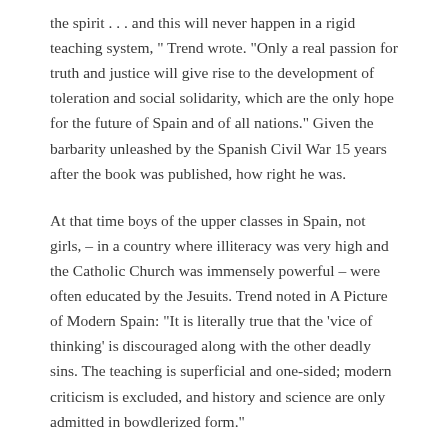the spirit . . . and this will never happen in a rigid teaching system, " Trend wrote. "Only a real passion for truth and justice will give rise to the development of toleration and social solidarity, which are the only hope for the future of Spain and of all nations." Given the barbarity unleashed by the Spanish Civil War 15 years after the book was published, how right he was.
At that time boys of the upper classes in Spain, not girls, – in a country where illiteracy was very high and the Catholic Church was immensely powerful – were often educated by the Jesuits. Trend noted in A Picture of Modern Spain: "It is literally true that the ‘vice of thinking’ is discouraged along with the other deadly sins. The teaching is superficial and one-sided; modern criticism is excluded, and history and science are only admitted in bowdlerized form."